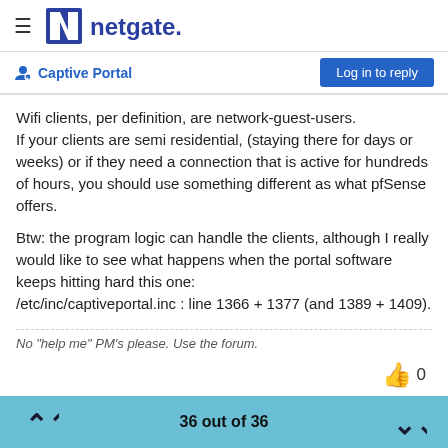netgate.
Captive Portal
Wifi clients, per definition, are network-guest-users. If your clients are semi residential, (staying there for days or weeks) or if they need a connection that is active for hundreds of hours, you should use something different as what pfSense offers.

Btw: the program logic can handle the clients, although I really would like to see what happens when the portal software keeps hitting hard this one:
/etc/inc/captiveportal.inc : line 1366 + 1377 (and 1389 + 1409).
No "help me" PM's please. Use the forum.
36 out of 36